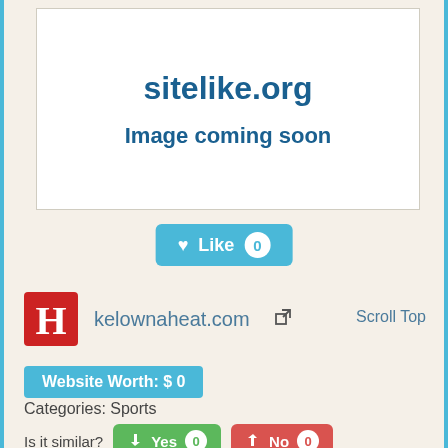[Figure (screenshot): Preview box showing sitelike.org placeholder with 'Image coming soon' text]
[Figure (other): Like button with heart icon, text 'Like' and count '0']
kelownaheat.com
Scroll Top
Website Worth: $ 0
Categories: Sports
Is it similar? Yes 0  No 0